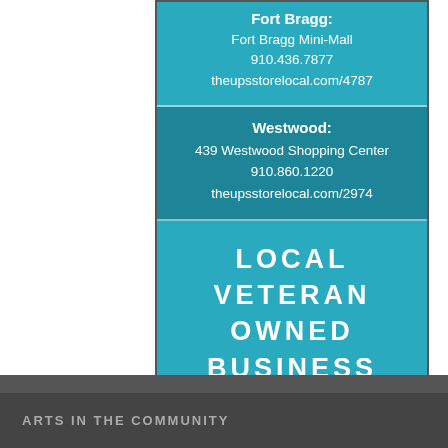Fort Bragg: Fort Bragg Mini-Mall 910.436.7877 theupsstorelocal.com/4787
Westwood: 439 Westwood Shopping Center 910.860.1220 theupsstorelocal.com/2974
LOCAL VETERAN OWNED BUSINESS
ARTS IN THE COMMUNITY